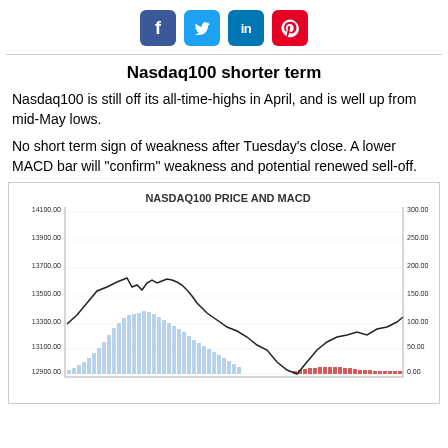[Figure (infographic): Social media sharing icons: Facebook (blue), Twitter (light blue), LinkedIn (blue), Pinterest (red)]
Nasdaq100 shorter term
Nasdaq100 is still off its all-time-highs in April, and is well up from mid-May lows.
No short term sign of weakness after Tuesday's close. A lower MACD bar will "confirm" weakness and potential renewed sell-off.
[Figure (continuous-plot): Dual-axis chart showing NASDAQ100 price as a line chart with blue bars (MACD histogram), left y-axis from 12900.00 to 14100.00, right y-axis from 0.00 to 300.00. The price line rises from ~13300 to a peak near 14050, then declines and recovers partially. Blue bars show positive MACD values peaking in the middle, red bars appear at the right for negative MACD values.]